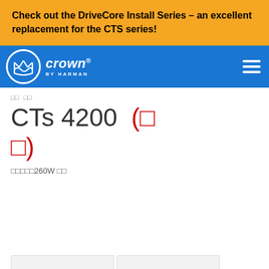Check out the DriveCore Install Series – an excellent replacement for the CTS series!
[Figure (logo): Crown by Harman logo on blue navigation bar]
□□  □□
CTs 4200  (□ □)
□□□□□260W □□